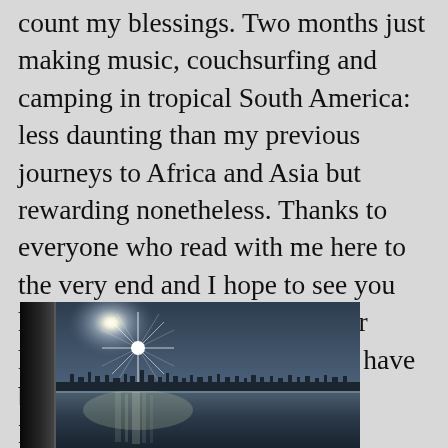count my blessings. Two months just making music, couchsurfing and camping in tropical South America: less daunting than my previous journeys to Africa and Asia but rewarding nonetheless. Thanks to everyone who read with me here to the very end and I hope to see you here all again because whatever happens, this will certainly not have been the last journey I'll make. Happy lockdown!
[Figure (photo): Outdoor photograph showing a bright sun with starburst rays over a body of water. A dark structural pillar or column is visible on the left side. A distant city skyline silhouette is visible on the horizon. The sky is dark grey-blue and the water below reflects the sunlight.]